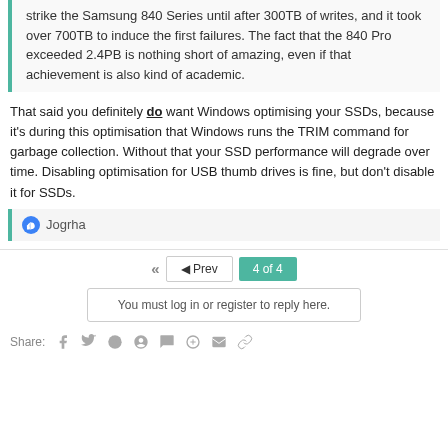strike the Samsung 840 Series until after 300TB of writes, and it took over 700TB to induce the first failures. The fact that the 840 Pro exceeded 2.4PB is nothing short of amazing, even if that achievement is also kind of academic.
That said you definitely do want Windows optimising your SSDs, because it's during this optimisation that Windows runs the TRIM command for garbage collection. Without that your SSD performance will degrade over time. Disabling optimisation for USB thumb drives is fine, but don't disable it for SSDs.
Jogrha
◄◄  ◄ Prev  4 of 4
You must log in or register to reply here.
Share: